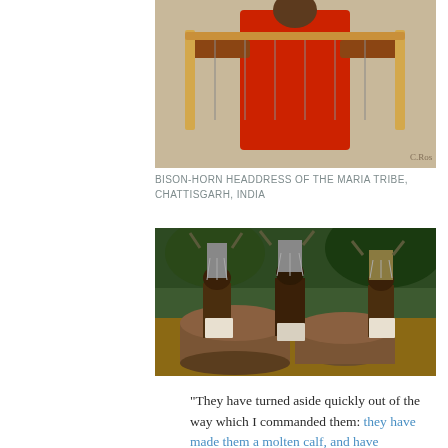[Figure (photo): Person in red shirt holding a traditional wooden instrument/frame, bison-horn headdress context, Chattisgarh India]
BISON-HORN HEADDRESS OF THE MARIA TRIBE, CHATTISGARH, INDIA
[Figure (photo): Three people from behind wearing bison-horn headdresses, crouching over large logs in an outdoor setting, Chattisgarh India]
“They have turned aside quickly out of the way which I commanded them: they have made them a molten calf, and have worshipped it, and have